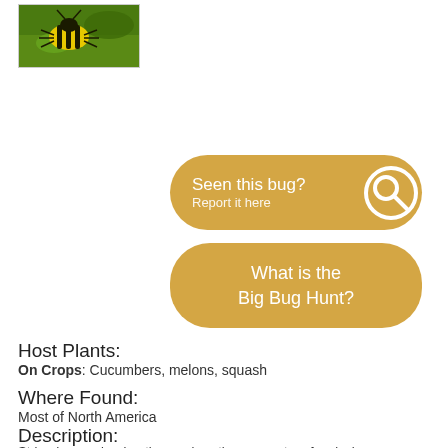[Figure (photo): Close-up photo of a striped cucumber beetle (yellow and black striped beetle) on green foliage]
[Figure (infographic): Button: 'Seen this bug? Report it here' with a search/magnifying glass circle icon on the right, golden/amber colored pill-shaped button]
[Figure (infographic): Button: 'What is the Big Bug Hunt?' golden/amber colored pill-shaped button]
Host Plants:
On Crops: Cucumbers, melons, squash
Where Found:
Most of North America
Description:
Striped cucumber beetles are less than a quarter of an inch